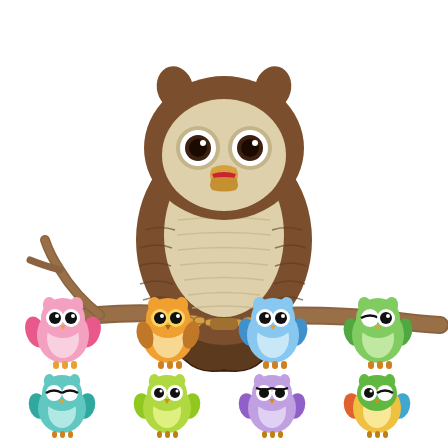[Figure (illustration): A large cartoon owl with brown feathers and a cream/beige chest sitting on a branch, beak open, with eight small colorful cartoon owls arranged in two rows below it. The small owls come in various colors: pink, orange, light blue, green (top row), and teal, lime green, purple, and another colorful owl (bottom row).]